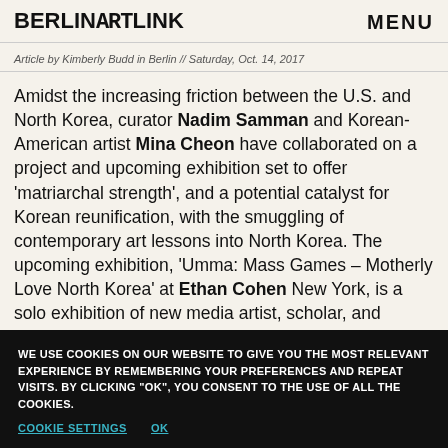BERLINARTLINK   MENU
Article by Kimberly Budd in Berlin // Saturday, Oct. 14, 2017
Amidst the increasing friction between the U.S. and North Korea, curator Nadim Samman and Korean-American artist Mina Cheon have collaborated on a project and upcoming exhibition set to offer 'matriarchal strength', and a potential catalyst for Korean reunification, with the smuggling of contemporary art lessons into North Korea. The upcoming exhibition, 'Umma: Mass Games – Motherly Love North Korea' at Ethan Cohen New York, is a solo exhibition of new media artist, scholar, and educator
WE USE COOKIES ON OUR WEBSITE TO GIVE YOU THE MOST RELEVANT EXPERIENCE BY REMEMBERING YOUR PREFERENCES AND REPEAT VISITS. BY CLICKING "OK", YOU CONSENT TO THE USE OF ALL THE COOKIES.
COOKIE SETTINGS   OK